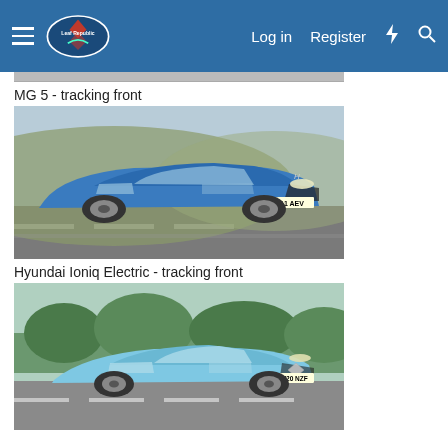Navigation bar with hamburger menu, logo, Log in, Register, and search icons
MG 5 - tracking front
[Figure (photo): Blue Hyundai Ioniq Electric car driving on road, tracking front shot, UK plate H11 AEV]
Hyundai Ioniq Electric - tracking front
[Figure (photo): Light blue Renault Zoe electric car driving on road, tracking front shot, UK plate HV20 NZF]